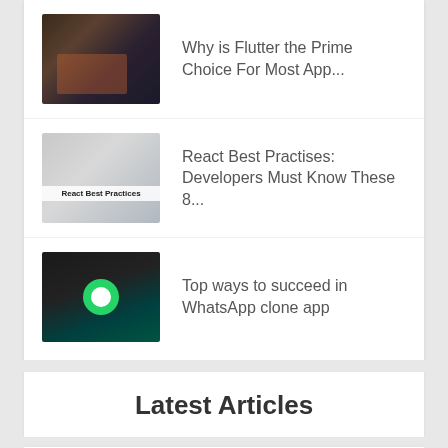[Figure (photo): Laptop with code on screen, person typing]
Why is Flutter the Prime Choice For Most App...
[Figure (photo): React Best Practices book/article thumbnail with laptop and notebook]
React Best Practises: Developers Must Know These 8...
[Figure (photo): Hand holding smartphone with WhatsApp/messaging app open]
Top ways to succeed in WhatsApp clone app
Latest Articles
[Figure (photo): Branding strategy infographic with orange BRANDING text and bullet points]
How To Create A Branding Strategy That Can Work In...